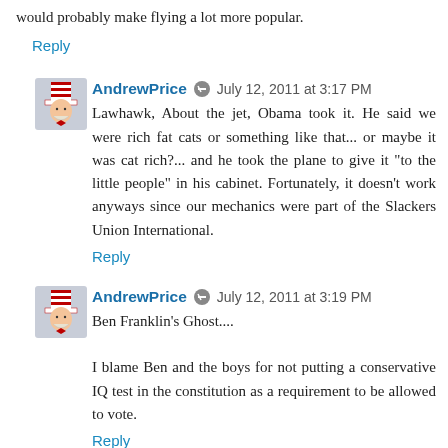would probably make flying a lot more popular.
Reply
AndrewPrice · July 12, 2011 at 3:17 PM
Lawhawk, About the jet, Obama took it. He said we were rich fat cats or something like that... or maybe it was cat rich?... and he took the plane to give it "to the little people" in his cabinet. Fortunately, it doesn't work anyways since our mechanics were part of the Slackers Union International.
Reply
AndrewPrice · July 12, 2011 at 3:19 PM
Ben Franklin's Ghost....
I blame Ben and the boys for not putting a conservative IQ test in the constitution as a requirement to be allowed to vote.
Reply